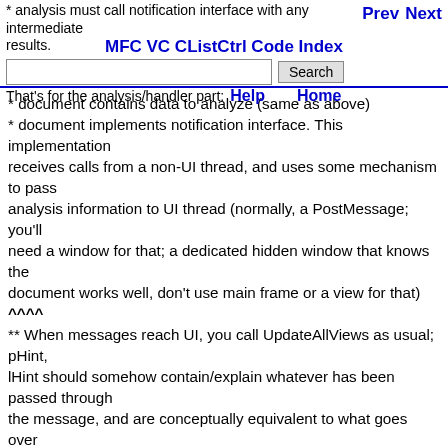Prev | Next | MFC VC CListCtrl Code Index | Search | Help | Home
* analysis must call notification interface with any intermediate results.
* document contains data to analyze (same as above)
* document implements notification interface. This implementation
receives calls from a non-UI thread, and uses some mechanism to pass
analysis information to UI thread (normally, a PostMessage; you'll
need a window for that; a dedicated hidden window that knows the
document works well, don't use main frame or a view for that) ^^^^
** When messages reach UI, you call UpdateAllViews as usual; pHint,
lHint should somehow contain/explain whatever has been passed through
the message, and are conceptually equivalent to what goes over
"notification interface".

^^^^ is the tricky part, and has very little to do with